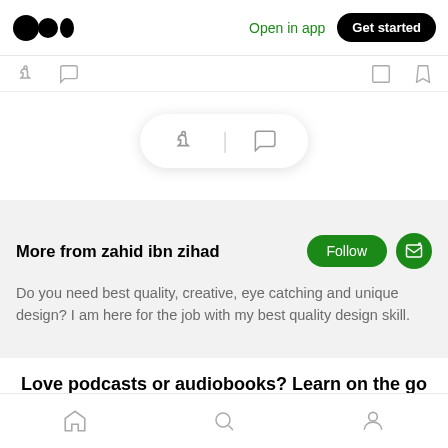[Figure (screenshot): Medium app logo (two overlapping circles and one oval) top left of nav bar]
Open in app
Get started
[Figure (screenshot): Partially visible reaction icons (clap and comment) in a bar below the top nav]
[Figure (screenshot): Floating pill with clap icon and comment icon on white background with shadow]
More from zahid ibn zihad
Do you need best quality, creative, eye catching and unique design? I am here for the job with my best quality design skill.
Love podcasts or audiobooks? Learn on the go with our new app.
[Figure (screenshot): Bottom navigation bar with home, search, and profile icons]